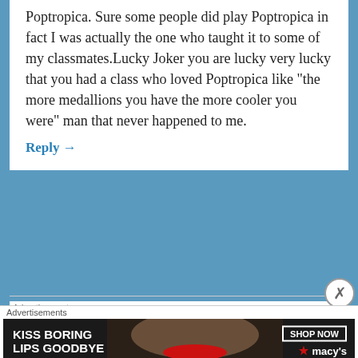Poptropica. Sure some people did play Poptropica in fact I was actually the one who taught it to some of my classmates.Lucky Joker you are lucky very lucky that you had a class who loved Poptropica like “the more medallions you have the more cooler you were” man that never happened to me.
Reply →
Advertisements
[Figure (infographic): Red advertisement banner for a podcast/audio app. Shows a smartphone mockup on the left displaying 'Dis-trib-uti' text. Right side has white bold text: 'An app by listeners, for listeners.']
Advertisements
[Figure (infographic): Dark advertisement banner for Macy's lipstick. Shows woman's face with red lips. Left side text: 'KISS BORING LIPS GOODBYE'. Right side has 'SHOP NOW' button and Macy's star logo.]